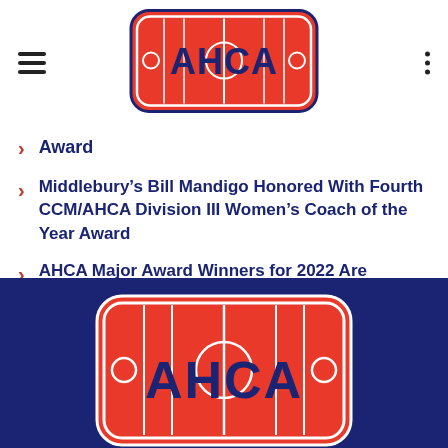[Figure (logo): AHCA logo — red rounded rectangle with hockey rink lines and blue AHCA text]
Award
Middlebury's Bill Mandigo Honored With Fourth CCM/AHCA Division III Women's Coach of the Year Award
AHCA Major Award Winners for 2022 Are Announced
[Figure (logo): AHCA logo in footer — large red rounded rectangle with hockey rink lines on dark blue background]